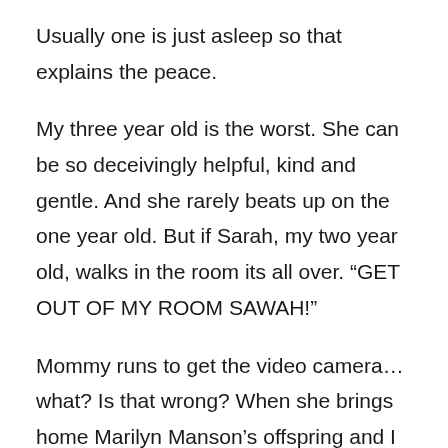Usually one is just asleep so that explains the peace.
My three year old is the worst.  She can be so deceivingly helpful, kind and gentle.  And she rarely beats up on the one year old.   But if Sarah, my two year old, walks in the room its all over.  “GET OUT OF MY ROOM SAWAH!”
Mommy runs to get the video camera…  what?  Is that wrong?  When she brings home Marilyn Manson’s offspring and I need to run him off I’ll be glad I have it!
I can hear the defining closed fist smack right on Sarah’s back.  But, oh, don’t feel sorry for her!  Because immediately following the “thunk” will be the ear piercing “Mommmeeeeee, Sawah pulled my